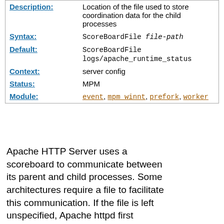| Description: | Location of the file used to store coordination data for the child processes |
| Syntax: | ScoreBoardFile file-path |
| Default: | ScoreBoardFile logs/apache_runtime_status |
| Context: | server config |
| Status: | MPM |
| Module: | event, mpm_winnt, prefork, worker |
Apache HTTP Server uses a scoreboard to communicate between its parent and child processes. Some architectures require a file to facilitate this communication. If the file is left unspecified, Apache httpd first attempts to create the scoreboard entirely in memory (using anonymous shared